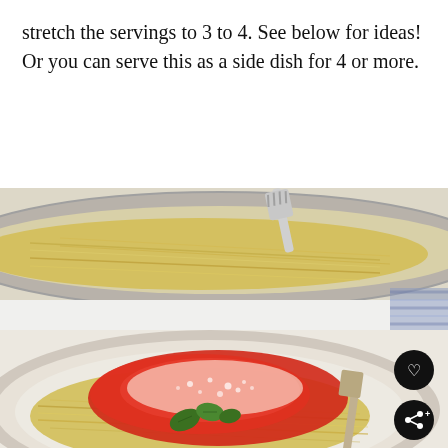stretch the servings to 3 to 4. See below for ideas! Or you can serve this as a side dish for 4 or more.
[Figure (photo): Food photo showing a pan of spaghetti squash with a fork in the background, and in the foreground a plate of spaghetti squash topped with red tomato marinara sauce, grated parmesan cheese, and fresh basil leaves. Two dark circular action buttons (heart/save and share) are visible on the right side.]